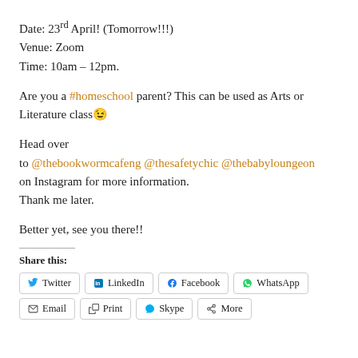Date: 23rd April! (Tomorrow!!!)
Venue: Zoom
Time: 10am – 12pm.
Are you a #homeschool parent? This can be used as Arts or Literature class😉
Head over to @thebookwormcafeng @thesafetychic @thebabyloungeon Instagram for more information.
Thank me later.
Better yet, see you there!!
Share this:
Twitter  LinkedIn  Facebook  WhatsApp
Email  Print  Skype  More